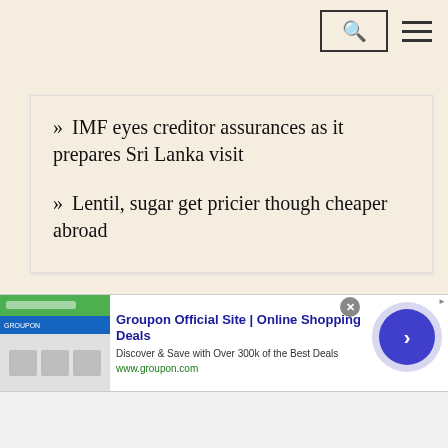[Navigation bar with search and menu icons]
» IMF eyes creditor assurances as it prepares Sri Lanka visit
» Lentil, sugar get pricier though cheaper abroad
[Figure (screenshot): Groupon advertisement banner: 'Groupon Official Site | Online Shopping Deals - Discover & Save with Over 300k of the Best Deals - www.groupon.com' with close button and arrow circle]